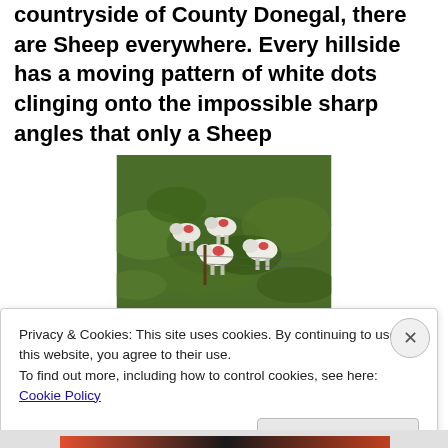countryside of County Donegal, there are Sheep everywhere. Every hillside has a moving pattern of white dots clinging onto the impossible sharp angles that only a Sheep
[Figure (photo): Photo of several sheep with red markings on their wool, standing on a steep green grassy hillside in County Donegal, Ireland]
[Figure (other): Horizontal gradient color bar transitioning from blue-steel on the left to pink/lavender on the right]
Privacy & Cookies: This site uses cookies. By continuing to use this website, you agree to their use.
To find out more, including how to control cookies, see here: Cookie Policy
Close and accept